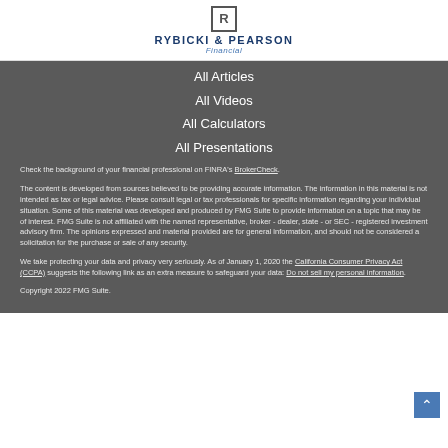[Figure (logo): Rybicki & Pearson Financial logo with R in a box above the company name]
All Articles
All Videos
All Calculators
All Presentations
Check the background of your financial professional on FINRA's BrokerCheck.
The content is developed from sources believed to be providing accurate information. The information in this material is not intended as tax or legal advice. Please consult legal or tax professionals for specific information regarding your individual situation. Some of this material was developed and produced by FMG Suite to provide information on a topic that may be of interest. FMG Suite is not affiliated with the named representative, broker - dealer, state - or SEC - registered investment advisory firm. The opinions expressed and material provided are for general information, and should not be considered a solicitation for the purchase or sale of any security.
We take protecting your data and privacy very seriously. As of January 1, 2020 the California Consumer Privacy Act (CCPA) suggests the following link as an extra measure to safeguard your data: Do not sell my personal information.
Copyright 2022 FMG Suite.